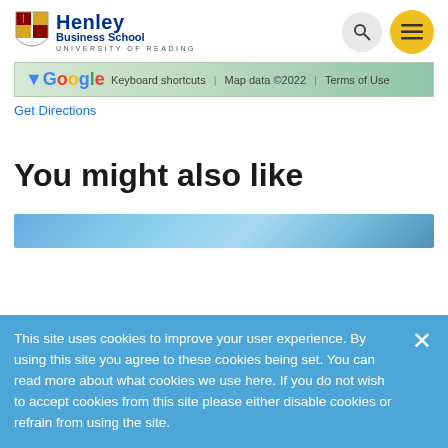[Figure (logo): Henley Business School, University of Reading logo with shield crest]
[Figure (screenshot): Google Maps embed showing map data ©2022 with Keyboard shortcuts and Terms of Use links]
Get Directions
You might also like
[Figure (photo): Partial photo strip at bottom of page content area]
This site uses cookies to improve your user experience. By using this site you agree to these cookies being set. You can read more about what cookies we use here. If you do not wish to accept cookies from this site please either disable cookies or refrain from using the site.